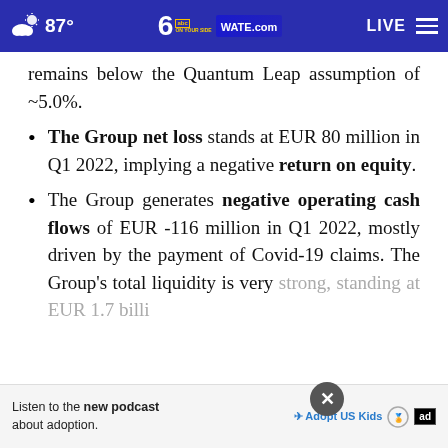87° WATE.com LIVE
remains below the Quantum Leap assumption of ~5.0%.
The Group net loss stands at EUR 80 million in Q1 2022, implying a negative return on equity.
The Group generates negative operating cash flows of EUR -116 million in Q1 2022, mostly driven by the payment of Covid-19 claims. The Group's total liquidity is very strong, standing at EUR 1.7 billion as at
Listen to the new podcast about adoption.